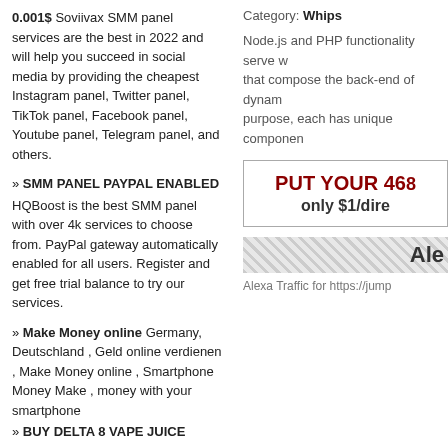0.001$ Soviivax SMM panel services are the best in 2022 and will help you succeed in social media by providing the cheapest Instagram panel, Twitter panel, TikTok panel, Facebook panel, Youtube panel, Telegram panel, and others.
» SMM PANEL PAYPAL ENABLED
HQBoost is the best SMM panel with over 4k services to choose from. PayPal gateway automatically enabled for all users. Register and get free trial balance to try our services.
» Make Money online
Germany, Deutschland , Geld online verdienen , Make Money online , Smartphone Money Make , money with your smartphone
» BUY DELTA 8 VAPE JUICE
Category: Whips
Node.js and PHP functionality serve w... that compose the back-end of dynam... purpose, each has unique componen...
[Figure (infographic): Advertisement box with bold dark red text reading PUT YOUR 46... and only $1/dire...]
[Figure (infographic): Alexa traffic stripe graphic with diagonal hatch pattern and 'Ale' text, followed by 'Alexa Traffic for https://jump...']